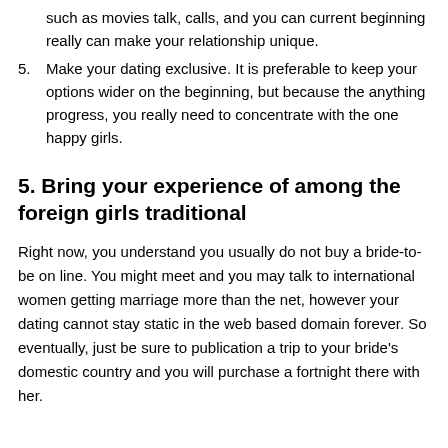such as movies talk, calls, and you can current beginning really can make your relationship unique.
5. Make your dating exclusive. It is preferable to keep your options wider on the beginning, but because the anything progress, you really need to concentrate with the one happy girls.
5. Bring your experience of among the foreign girls traditional
Right now, you understand you usually do not buy a bride-to-be on line. You might meet and you may talk to international women getting marriage more than the net, however your dating cannot stay static in the web based domain forever. So eventually, just be sure to publication a trip to your bride’s domestic country and you will purchase a fortnight there with her.